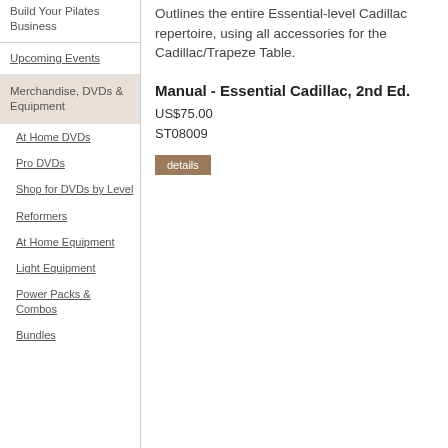Build Your Pilates Business
Upcoming Events
Merchandise, DVDs & Equipment
At Home DVDs
Pro DVDs
Shop for DVDs by Level
Reformers
At Home Equipment
Light Equipment
Power Packs & Combos
Bundles
Outlines the entire Essential-level Cadillac repertoire, using all accessories for the Cadillac/Trapeze Table.
Manual - Essential Cadillac, 2nd Ed.
US$75.00
ST08009
details